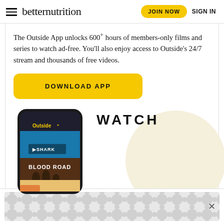betternutrition — JOIN NOW | SIGN IN
The Outside App unlocks 600+ hours of members-only films and series to watch ad-free. You'll also enjoy access to Outside's 24/7 stream and thousands of free videos.
DOWNLOAD APP
[Figure (screenshot): Phone mockup showing the Outside+ app with films including 'Hunt the Shark' and 'Blood Road'. Beside the phone is the word WATCH in large bold letters. A large decorative circle (beige/cream) appears in the background.]
[Figure (other): Ad banner at the bottom with a repeating circular dot pattern on a light grey background, with an X close button on the right.]